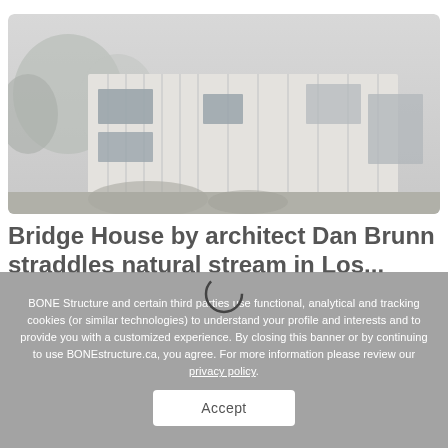[Figure (photo): Exterior photo of Bridge House – a modern white/light grey building with vertical panel cladding, cantilevered over a natural stream, surrounded by trees and lush greenery]
Bridge House by architect Dan Brunn straddles natural stream in Los...
BONE Structure and certain third parties use functional, analytical and tracking cookies (or similar technologies) to understand your profile and interests and to provide you with a customized experience. By closing this banner or by continuing to use BONEstructure.ca, you agree. For more information please review our privacy policy.
Accept